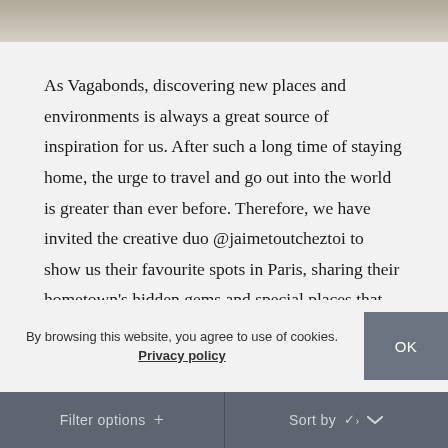[Figure (photo): Top portion of a photo, showing blurred outdoor/natural background in grey-brown tones]
As Vagabonds, discovering new places and environments is always a great source of inspiration for us. After such a long time of staying home, the urge to travel and go out into the world is greater than ever before. Therefore, we have invited the creative duo @jaimetoutcheztoi to show us their favourite spots in Paris, sharing their hometown's hidden gems and special places that bring joy and
By browsing this website, you agree to use of cookies. Privacy policy
OK
Filter options +     Sort by ∨